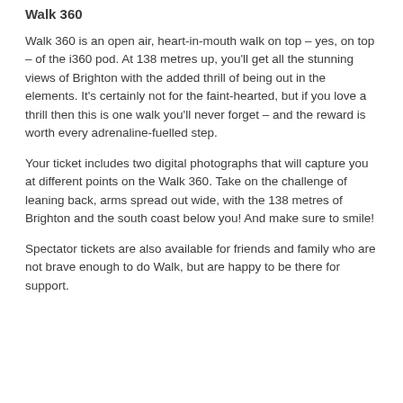Walk 360
Walk 360 is an open air, heart-in-mouth walk on top – yes, on top – of the i360 pod. At 138 metres up, you'll get all the stunning views of Brighton with the added thrill of being out in the elements. It's certainly not for the faint-hearted, but if you love a thrill then this is one walk you'll never forget – and the reward is worth every adrenaline-fuelled step.
Your ticket includes two digital photographs that will capture you at different points on the Walk 360. Take on the challenge of leaning back, arms spread out wide, with the 138 metres of Brighton and the south coast below you! And make sure to smile!
Spectator tickets are also available for friends and family who are not brave enough to do Walk, but are happy to be there for support.